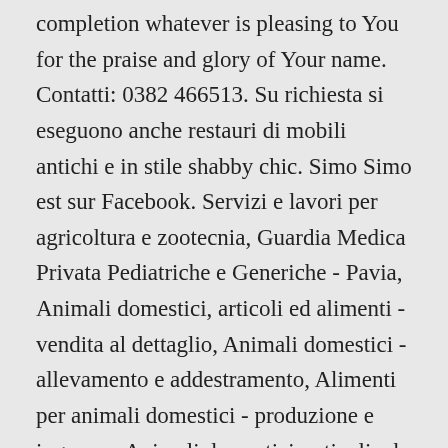completion whatever is pleasing to You for the praise and glory of Your name. Contatti: 0382 466513. Su richiesta si eseguono anche restauri di mobili antichi e in stile shabby chic. Simo Simo est sur Facebook. Servizi e lavori per agricoltura e zootecnia, Guardia Medica Privata Pediatriche e Generiche - Pavia, Animali domestici, articoli ed alimenti - vendita al dettaglio, Animali domestici - allevamento e addestramento, Alimenti per animali domestici - produzione e ingrosso, Animali domestici, articoli ed attrezzature - produzione e ingrosso, Banche ed istituti di credito e risparmio. 199 mentions J'aime. Veterinario Dott.ssa Mortera Levi Anna Maria, Clinica Veterinaria Città Di Pv Clinica Veterinaria Città